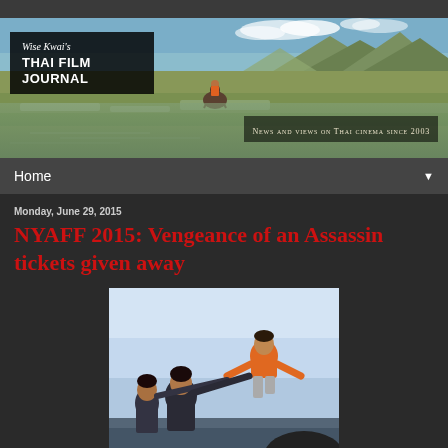[Figure (photo): Website header banner showing a rice paddy field with a person riding on an animal through water, mountains in background, sky with clouds. Logo overlay reads 'Wise Kwai's THAI FILM JOURNAL'. Tagline: 'News and views on Thai cinema since 2003']
Home
Monday, June 29, 2015
NYAFF 2015: Vengeance of an Assassin tickets given away
[Figure (photo): Action martial arts scene showing a person in an orange jacket performing a flying kick move, with two other people on the ground. Sky and ground visible in background.]